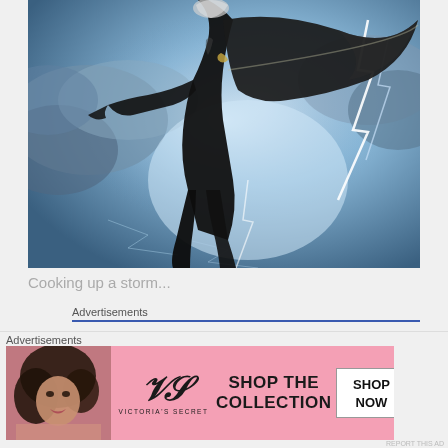[Figure (illustration): Comic book illustration of a superhero figure (Storm/weather character) in black costume flying through stormy sky with lightning bolts and dramatic clouds in the background]
Cooking up a storm...
Advertisements
The Platform Wh...
Advertisements
[Figure (other): Victoria's Secret advertisement banner showing a model, VS logo, text 'SHOP THE COLLECTION' and a 'SHOP NOW' button]